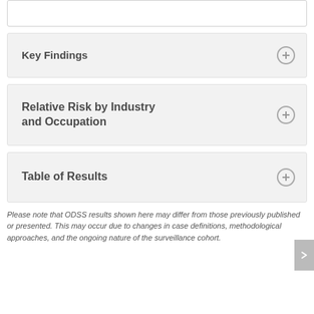Key Findings
Relative Risk by Industry and Occupation
Table of Results
Please note that ODSS results shown here may differ from those previously published or presented. This may occur due to changes in case definitions, methodological approaches, and the ongoing nature of the surveillance cohort.